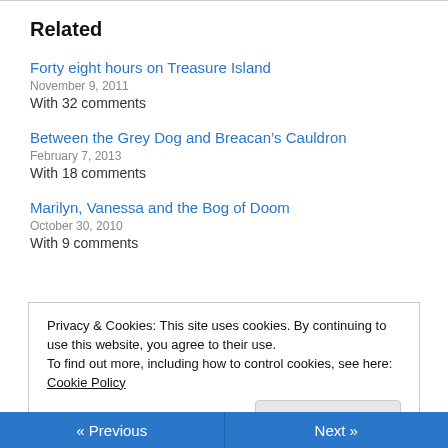Related
Forty eight hours on Treasure Island
November 9, 2011
With 32 comments
Between the Grey Dog and Breacan’s Cauldron
February 7, 2013
With 18 comments
Marilyn, Vanessa and the Bog of Doom
October 30, 2010
With 9 comments
Privacy & Cookies: This site uses cookies. By continuing to use this website, you agree to their use.
To find out more, including how to control cookies, see here: Cookie Policy
« Previous    Next »